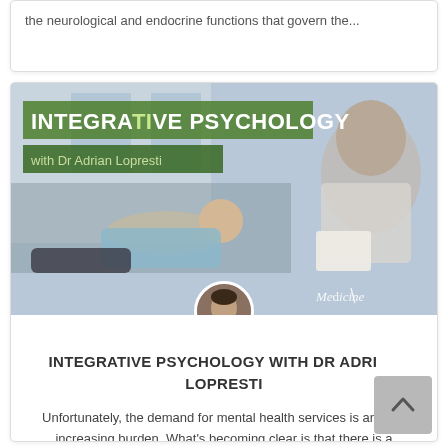the neurological and endocrine functions that govern the...
[Figure (photo): Integrative Psychology with Dr Adrian Lopresti banner image showing a patient lying on a couch in a therapy session with a therapist taking notes, overlaid with green banner text and an avatar photo of Dr Adrian Lopresti]
INTEGRATIVE PSYCHOLOGY WITH DR ADRIAN LOPRESTI
Unfortunately, the demand for mental health services is an ever increasing burden. What's becoming clear is that there is a